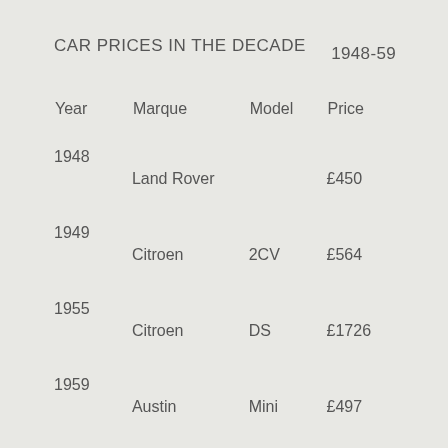CAR PRICES IN THE DECADE
1948-59
| Year | Marque | Model | Price |
| --- | --- | --- | --- |
| 1948 | Land Rover |  | £450 |
| 1949 | Citroen | 2CV | £564 |
| 1955 | Citroen | DS | £1726 |
| 1959 | Austin | Mini | £497 |